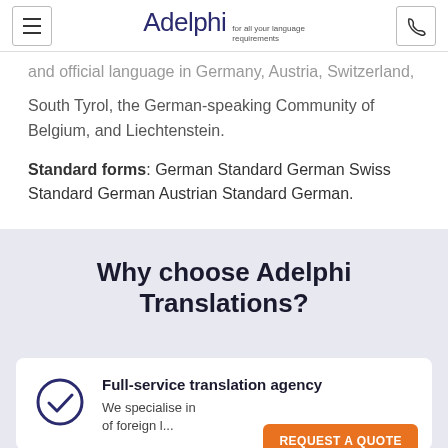Adelphi for all your language requirements
and official language in Germany, Austria, Switzerland, South Tyrol, the German-speaking Community of Belgium, and Liechtenstein.
Standard forms: German Standard German Swiss Standard German Austrian Standard German.
Why choose Adelphi Translations?
Full-service translation agency
We specialise in...